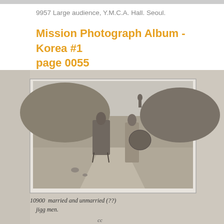9957 Large audience, Y.M.C.A. Hall. Seoul.
Mission Photograph Album - Korea #1 page 0055
[Figure (photo): Black and white photograph mounted on an album page showing two figures on a dirt road with hills in the background. One figure is seated at what appears to be a cart or stand, another stands carrying a large round object. Handwritten caption below reads: '10900 married and unmarried (?) jigg men.' with 'cc' written separately.]